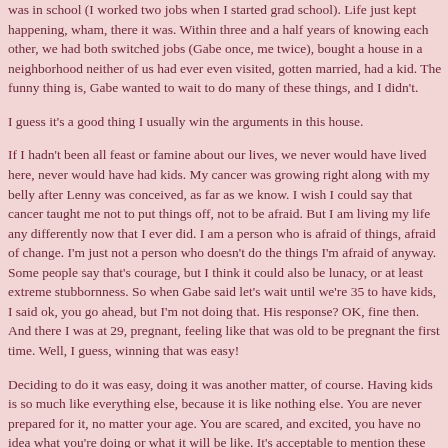was in school (I worked two jobs when I started grad school). Life just kept happening, wham, there it was. Within three and a half years of knowing each other, we had both switched jobs (Gabe once, me twice), bought a house in a neighborhood neither of us had ever even visited, gotten married, had a kid. The funny thing is, Gabe wanted to wait to do many of these things, and I didn't.
I guess it's a good thing I usually win the arguments in this house.
If I hadn't been all feast or famine about our lives, we never would have lived here, never would have had kids. My cancer was growing right along with my belly after Lenny was conceived, as far as we know. I wish I could say that cancer taught me not to put things off, not to be afraid. But I am living my life any differently now that I ever did. I am a person who is afraid of things, afraid of change. I'm just not a person who doesn't do the things I'm afraid of anyway. Some people say that's courage, but I think it could also be lunacy, or at least extreme stubbornness. So when Gabe said let's wait until we're 35 to have kids, I said ok, you go ahead, but I'm not doing that. His response? OK, fine then. And there I was at 29, pregnant, feeling like that was old to be pregnant the first time. Well, I guess, winning that was easy!
Deciding to do it was easy, doing it was another matter, of course. Having kids is so much like everything else, because it is like nothing else. You are never prepared for it, no matter your age. You are scared, and excited, you have no idea what you're doing or what it will be like. It's acceptable to mention these things about parenthood. How normal is it to say it feels the same way when you take a deep breath and open the door to a salon to have a woman ten years younger than you cut your crazy baby-hair so you can feel like a normal participant in society? How normal is it to take that...